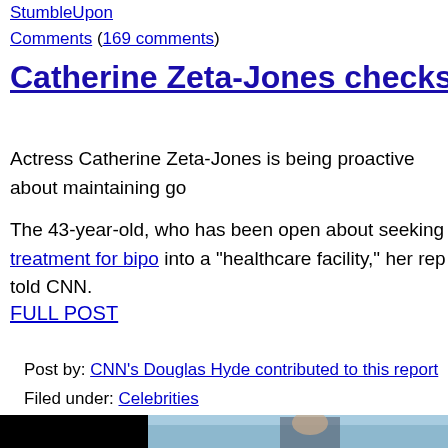StumbleUpon
Comments (169 comments)
Catherine Zeta-Jones checks into healthcar...
Actress Catherine Zeta-Jones is being proactive about maintaining go...
The 43-year-old, who has been open about seeking treatment for bipo... into a "healthcare facility," her rep told CNN.
FULL POST
Post by: CNN's Douglas Hyde contributed to this report
Filed under: Celebrities
[Figure (photo): Two people at what appears to be a red carpet or awards event. A young man in a suit and tie, and a young woman with dark bangs, standing in front of a backdrop with logos.]